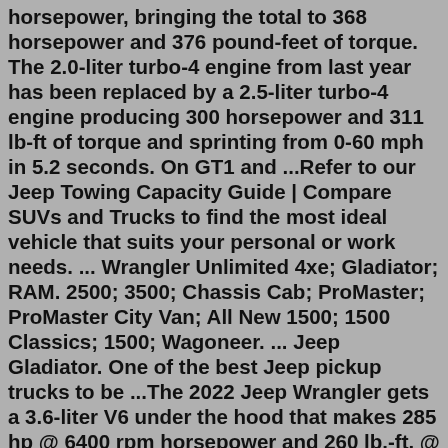horsepower, bringing the total to 368 horsepower and 376 pound-feet of torque. The 2.0-liter turbo-4 engine from last year has been replaced by a 2.5-liter turbo-4 engine producing 300 horsepower and 311 lb-ft of torque and sprinting from 0-60 mph in 5.2 seconds. On GT1 and ...Refer to our Jeep Towing Capacity Guide | Compare SUVs and Trucks to find the most ideal vehicle that suits your personal or work needs. ... Wrangler Unlimited 4xe; Gladiator; RAM. 2500; 3500; Chassis Cab; ProMaster; ProMaster City Van; All New 1500; 1500 Classics; 1500; Wagoneer. ... Jeep Gladiator. One of the best Jeep pickup trucks to be ...The 2022 Jeep Wrangler gets a 3.6-liter V6 under the hood that makes 285 hp @ 6400 rpm horsepower and 260 lb.-ft. @ 4800 rpm of torque. The truck can tow a total of - lbs. and has a Payload capacity of - lbs, that means, you can tow your everyday gigs with comfort and ease. The Jeep also offers a bigger and more potent 2-liter Turbo I4 that ...EQUIPPED FOR EVERY ADVENTURE. The 5-foot bed is thoughtfully designed with available LED lighting